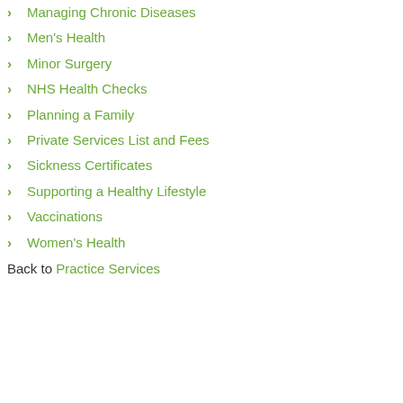Managing Chronic Diseases
Men's Health
Minor Surgery
NHS Health Checks
Planning a Family
Private Services List and Fees
Sickness Certificates
Supporting a Healthy Lifestyle
Vaccinations
Women's Health
Back to Practice Services